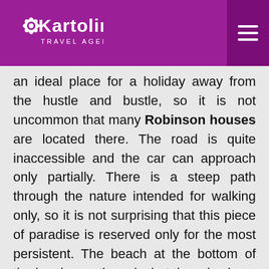Kartolina Travel Agency
an ideal place for a holiday away from the hustle and bustle, so it is not uncommon that many Robinson houses are located there. The road is quite inaccessible and the car can approach only partially. There is a steep path through the nature intended for walking only, so it is not surprising that this piece of paradise is reserved only for the most persistent. The beach at the bottom of the bay is mostly rocky but there is also a pebbled part and a small paved bridge while there is sand in the sea. The best way to access this beach is by boat ride or one of our guided kayak tours.